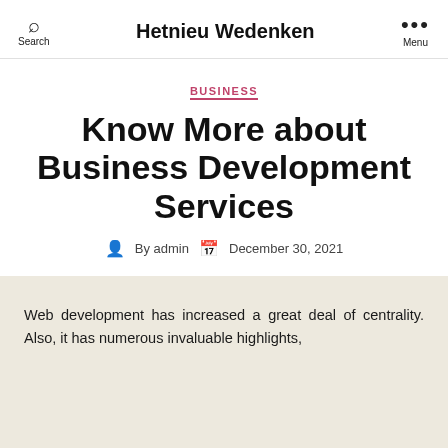Hetnieu Wedenken
BUSINESS
Know More about Business Development Services
By admin  December 30, 2021
Web development has increased a great deal of centrality. Also, it has numerous invaluable highlights,